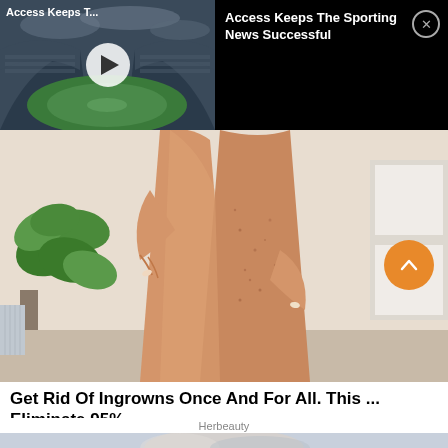[Figure (screenshot): Video banner with stadium thumbnail showing 'Access Keeps T...' title and play button, alongside text 'Access Keeps The Sporting News Successful' with close button, on black background]
[Figure (photo): Advertisement photo showing a person's legs with a plant in the background, promoting a skin care product]
Get Rid Of Ingrowns Once And For All. This ... Eliminate 95%
Herbeauty
[Figure (photo): Partial photo at bottom showing an elderly person's head/hair]